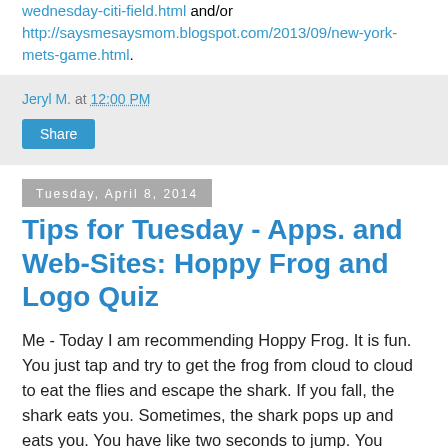wednesday-citi-field.html and/or http://saysmesaysmom.blogspot.com/2013/09/new-york-mets-game.html.
Jeryl M. at 12:00 PM
Share
Tuesday, April 8, 2014
Tips for Tuesday - Apps. and Web-Sites: Hoppy Frog and Logo Quiz
Me - Today I am recommending Hoppy Frog. It is fun. You just tap and try to get the frog from cloud to cloud to eat the flies and escape the shark. If you fall, the shark eats you. Sometimes, the shark pops up and eats you. You have like two seconds to jump. You should get this game, and it's free.
Mom - Today I am recommending Logo Quiz. It is a game where you have to guess the logos of different products, TV shows, games etc. Every time you guess one you earn a